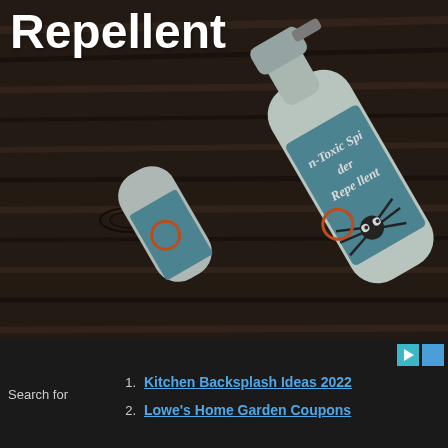[Figure (photo): A spray bottle labeled 'Non-Toxic Spider Repellent' with a teal/blue label featuring a cartoon spider graphic and an orange circle logo, lying diagonally on a dark wood-grain surface.]
Repellent
Search for
1. Kitchen Backsplash Ideas 2022
2. Lowe's Home Garden Coupons